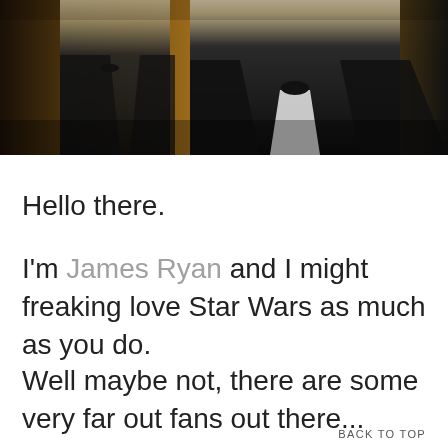[Figure (photo): A man in a black tuxedo with bow tie at what appears to be a social event. Another man in the background also wearing a tuxedo. Warm ambient lighting.]
Hello there.
I'm James Ryan and I might freaking love Star Wars as much as you do.
Well maybe not, there are some very far out fans out there...
BACK TO TOP